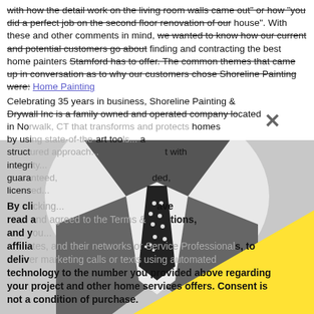with how the detail work on the living room walls came out" or how "you did a perfect job on the second floor renovation of our house". With these and other comments in mind, we wanted to know how our current and potential customers go about finding and contracting the best home painters Stamford has to offer. The common themes that came up in conversation as to why our customers chose Shoreline Painting were: Home Painting
[Figure (photo): Black and white photo of a man in a suit with a polka dot tie, overlaid with a large yellow triangle shape in the lower right, and an X mark overlay in the upper right area.]
Celebrating 35 years in business, Shoreline Painting & Drywall Inc is a family owned and operated company located in Norwalk, CT that transforms and protects homes by using state-of-the-art tools... a structured approach... integrity... guaranteed, licensed...
By clicking... have read and agreed to the Terms & Conditions, and you... affiliates, and their networks or Service Professionals, to deliver marketing calls or texts using automated technology to the number you provided above regarding your project and other home services offers. Consent is not a condition of purchase.